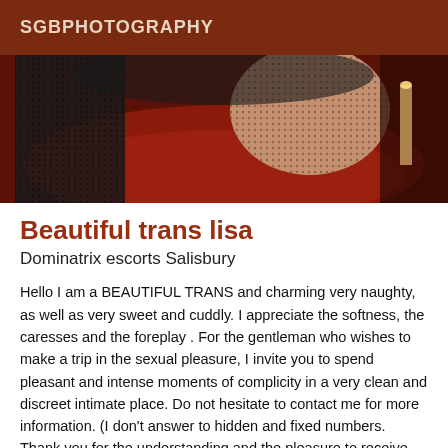SGBPHOTOGRAPHY
[Figure (photo): Photo of a person in red and black clothing/lingerie with fishnet stockings, dark background with red fabric]
Beautiful trans lisa
Dominatrix escorts Salisbury
Hello I am a BEAUTIFUL TRANS and charming very naughty, as well as very sweet and cuddly. I appreciate the softness, the caresses and the foreplay . For the gentleman who wishes to make a trip in the sexual pleasure, I invite you to spend pleasant and intense moments of complicity in a very clean and discreet intimate place. Do not hesitate to contact me for more information. (I don't answer to hidden and fixed numbers. Thank you for the understanding and the pleasure to receive you. I am passing by